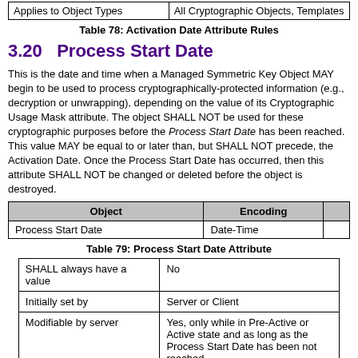| Applies to Object Types | All Cryptographic Objects, Templates |
| --- | --- |
| Applies to Object Types | All Cryptographic Objects, Templates |
Table 78: Activation Date Attribute Rules
3.20   Process Start Date
This is the date and time when a Managed Symmetric Key Object MAY begin to be used to process cryptographically-protected information (e.g., decryption or unwrapping), depending on the value of its Cryptographic Usage Mask attribute. The object SHALL NOT be used for these cryptographic purposes before the Process Start Date has been reached. This value MAY be equal to or later than, but SHALL NOT precede, the Activation Date. Once the Process Start Date has occurred, then this attribute SHALL NOT be changed or deleted before the object is destroyed.
| Object | Encoding |  |
| --- | --- | --- |
| Process Start Date | Date-Time |  |
Table 79: Process Start Date Attribute
| SHALL always have a value | No |
| Initially set by | Server or Client |
| Modifiable by server | Yes, only while in Pre-Active or Active state and as long as the Process Start Date has been not reached. |
| Modifiable by client | Yes, only while in Pre-Active state and as long as... |